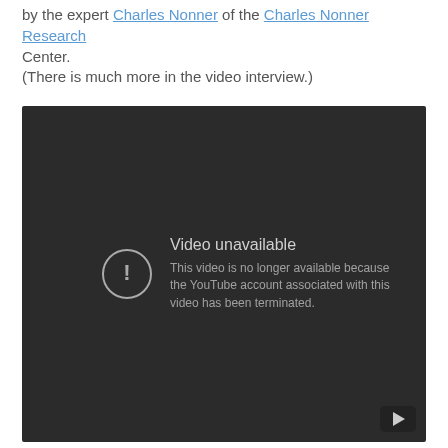by the expert Charles Nonner of the Charles Nonner Research Center.
(There is much more in the video interview.)
[Figure (screenshot): Embedded YouTube video player showing an error state: 'Video unavailable — This video is no longer available because the YouTube account associated with this video has been terminated.' Dark background with a circular exclamation icon and YouTube logo in bottom-right corner.]